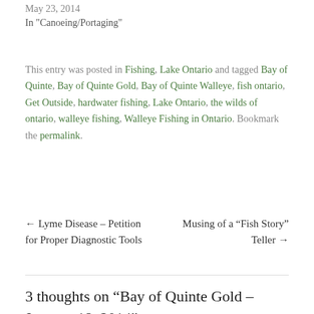May 23, 2014
In "Canoeing/Portaging"
This entry was posted in Fishing, Lake Ontario and tagged Bay of Quinte, Bay of Quinte Gold, Bay of Quinte Walleye, fish ontario, Get Outside, hardwater fishing, Lake Ontario, the wilds of ontario, walleye fishing, Walleye Fishing in Ontario. Bookmark the permalink.
← Lyme Disease – Petition for Proper Diagnostic Tools
Musing of a “Fish Story” Teller →
3 thoughts on “Bay of Quinte Gold – January 18, 2014”
[Figure (photo): Circular avatar image showing a sunflower illustration with green and yellow tones]